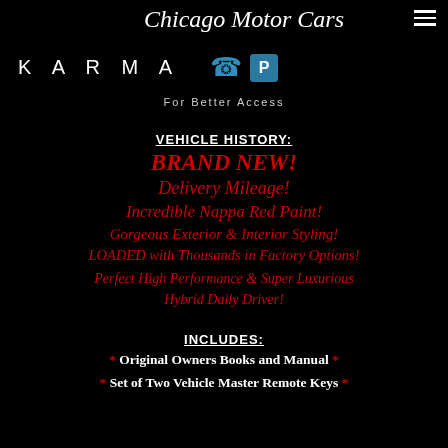Chicago Motor Cars
[Figure (logo): KARMA brand text logo in white on black, followed by phone icon and parking icon]
For Better Access
VEHICLE HISTORY:
BRAND NEW!
Delivery Mileage!
Incredible Nappa Red Paint!
Gorgeous Exterior & Interior Styling!
LOADED with Thousands in Factory Options!
Perfect High Performance & Super Luxurious Hybrid Daily Driver!
INCLUDES:
* Original Owners Books and Manual *
* Set of Two Vehicle Master Remote Keys *